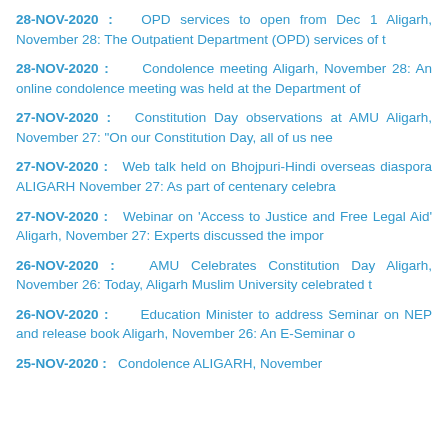28-NOV-2020 :   OPD services to open from Dec 1 Aligarh, November 28: The Outpatient Department (OPD) services of t
28-NOV-2020 :      Condolence meeting Aligarh, November 28: An online condolence meeting was held at the Department of
27-NOV-2020 :   Constitution Day observations at AMU Aligarh, November 27: "On our Constitution Day, all of us nee
27-NOV-2020 :   Web talk held on Bhojpuri-Hindi overseas diaspora ALIGARH November 27: As part of centenary celebra
27-NOV-2020 :   Webinar on 'Access to Justice and Free Legal Aid' Aligarh, November 27: Experts discussed the impor
26-NOV-2020 :   AMU Celebrates Constitution Day Aligarh, November 26: Today, Aligarh Muslim University celebrated t
26-NOV-2020 :      Education Minister to address Seminar on NEP and release book Aligarh, November 26: An E-Seminar o
25-NOV-2020 :   Condolence ALIGARH, November